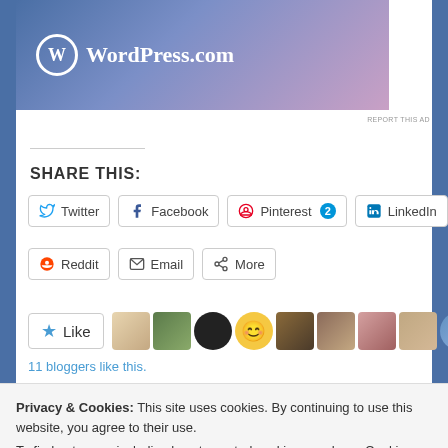[Figure (logo): WordPress.com logo with white W icon and white text on gradient blue-purple background]
REPORT THIS AD
SHARE THIS:
Twitter | Facebook | Pinterest 2 | LinkedIn | Reddit | Email | More
[Figure (other): Like button with star and row of 10 blogger avatars]
11 bloggers like this.
Privacy & Cookies: This site uses cookies. By continuing to use this website, you agree to their use.
To find out more, including how to control cookies, see here: Cookie Policy
Close and accept